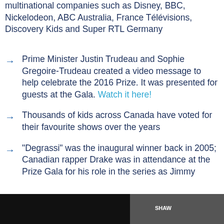multinational companies such as Disney, BBC, Nickelodeon, ABC Australia, France Télévisions, Discovery Kids and Super RTL Germany
Prime Minister Justin Trudeau and Sophie Gregoire-Trudeau created a video message to help celebrate the 2016 Prize. It was presented for guests at the Gala. Watch it here!
Thousands of kids across Canada have voted for their favourite shows over the years
"Degrassi" was the inaugural winner back in 2005; Canadian rapper Drake was in attendance at the Prize Gala for his role in the series as Jimmy
[Figure (photo): Bottom bar showing a dark image, appears to be a video or photo still with a Shaw logo visible]